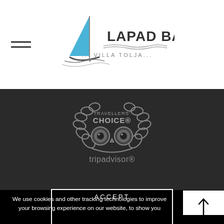Lapad Bay ... Villa Tolja...
[Figure (logo): TripAdvisor Travellers' Choice badge — grey owl logo with laurel wreath, text TRAVELLERS' CHOICE and tripadvisor]
We use cookies and other tracking technologies to improve your browsing experience on our website, to show you personalized content and targeted ads, to analyze our website traffic, and to understand where our visitors are coming from.
ACCEPT